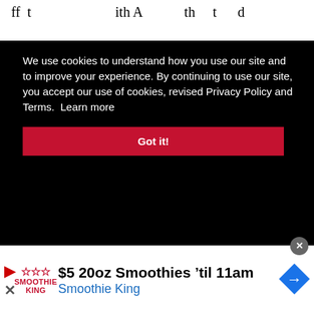ff t t ith A th t d
We use cookies to understand how you use our site and to improve your experience. By continuing to use our site, you accept our use of cookies, revised Privacy Policy and Terms.  Learn more
Got it!
then, “their focus has been more and more on the stockholders and less on us makers.”
[Figure (screenshot): Advertisement banner for Smoothie King: '$5 20oz Smoothies ’til 11am' with Smoothie King logo and navigation arrow icon]